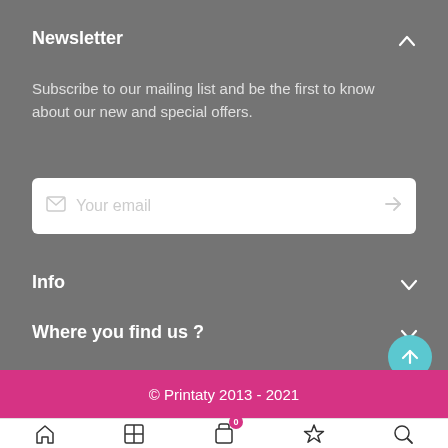Newsletter
Subscribe to our mailing list and be the first to know about our new and special offers.
[Figure (screenshot): Email input field with envelope icon, placeholder text 'Your email', and right arrow button]
Info
Where you find us ?
© Printaty 2013 - 2021
[Figure (screenshot): Mobile bottom navigation bar with home, grid, cart (badge 0), star, and search icons]